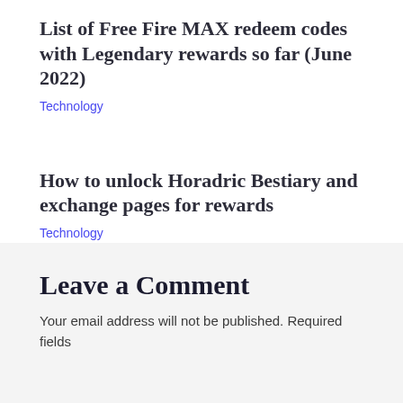List of Free Fire MAX redeem codes with Legendary rewards so far (June 2022)
Technology
How to unlock Horadric Bestiary and exchange pages for rewards
Technology
Leave a Comment
Your email address will not be published. Required fields